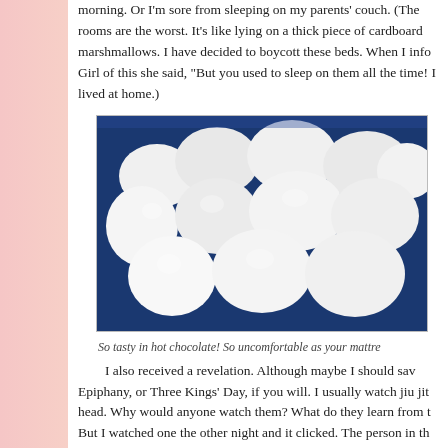morning. Or I'm sore from sleeping on my parents' couch. (The rooms are the worst. It's like lying on a thick piece of cardboard marshmallows. I have decided to boycott these beds. When I info Girl of this she said, "But you used to sleep on them all the time! I lived at home.)
[Figure (photo): Photo of white marshmallows scattered on a dark blue background]
So tasty in hot chocolate! So uncomfortable as your mattre
I also received a revelation. Although maybe I should sav Epiphany, or Three Kings' Day, if you will. I usually watch jiu jit head. Why would anyone watch them? What do they learn from t But I watched one the other night and it clicked. The person in th game. Wow! I could see it all clearly. It was making sense. I vow more of this guy's stuff on YouTube. This could be a breakthrout recommended a few other players who have my style. So YouTu